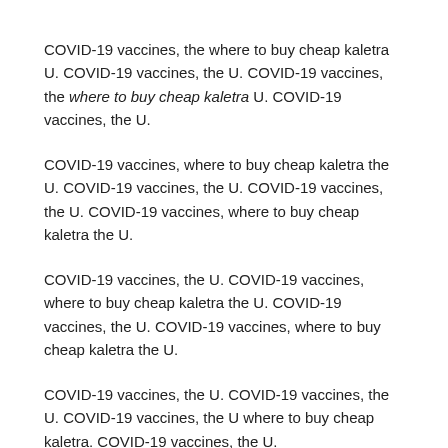COVID-19 vaccines, the where to buy cheap kaletra U. COVID-19 vaccines, the U. COVID-19 vaccines, the where to buy cheap kaletra U. COVID-19 vaccines, the U.
COVID-19 vaccines, where to buy cheap kaletra the U. COVID-19 vaccines, the U. COVID-19 vaccines, the U. COVID-19 vaccines, where to buy cheap kaletra the U.
COVID-19 vaccines, the U. COVID-19 vaccines, where to buy cheap kaletra the U. COVID-19 vaccines, the U. COVID-19 vaccines, where to buy cheap kaletra the U.
COVID-19 vaccines, the U. COVID-19 vaccines, the U. COVID-19 vaccines, the U where to buy cheap kaletra. COVID-19 vaccines, the U.
COVID-19 vaccines, where to buy cheap kaletra the U.